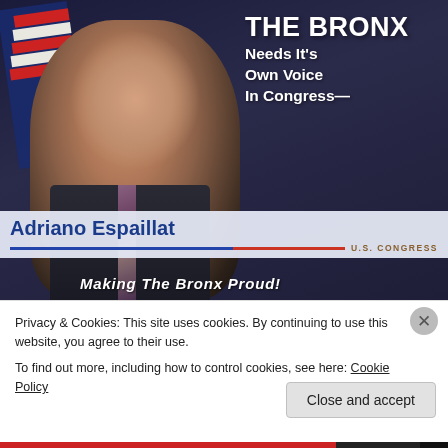[Figure (photo): Campaign mailer photo showing Adriano Espaillat smiling in a suit and tie with an American flag in the background. Dark blue background with white bold text reading 'THE BRONX Needs It's Own Voice In Congress' and a banner with 'Adriano Espaillat U.S. Congress' and tagline 'Making The Bronx Proud!']
Privacy & Cookies: This site uses cookies. By continuing to use this website, you agree to their use.
To find out more, including how to control cookies, see here: Cookie Policy
Close and accept